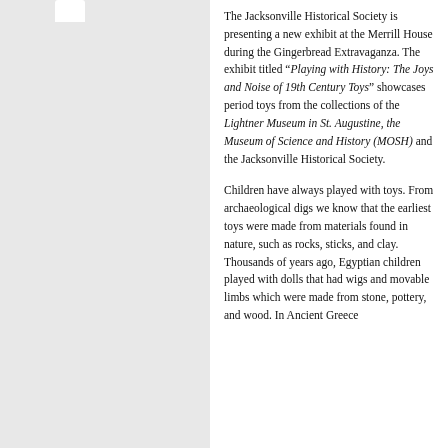The Jacksonville Historical Society is presenting a new exhibit at the Merrill House during the Gingerbread Extravaganza. The exhibit titled “Playing with History: The Joys and Noise of 19th Century Toys” showcases period toys from the collections of the Lightner Museum in St. Augustine, the Museum of Science and History (MOSH) and the Jacksonville Historical Society.
Children have always played with toys. From archaeological digs we know that the earliest toys were made from materials found in nature, such as rocks, sticks, and clay. Thousands of years ago, Egyptian children played with dolls that had wigs and movable limbs which were made from stone, pottery, and wood. In Ancient Greece